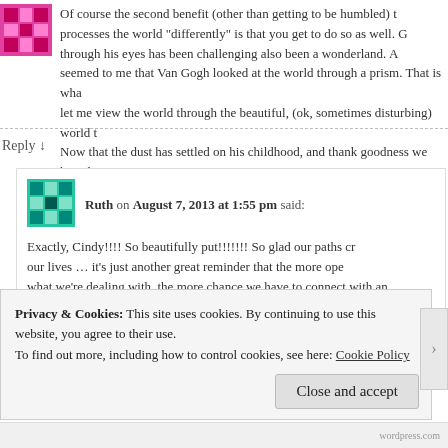Of course the second benefit (other than getting to be humbled) to processes the world "differently" is that you get to do so as well. G through his eyes has been challenging also been a wonderland. A seemed to me that Van Gogh looked at the world through a prism. That is wha let me view the world through the beautiful, (ok, sometimes disturbing) world th Now that the dust has settled on his childhood, and thank goodness we have b encourage him to see his difference as a gift. He sees possibility where others
Reply ↓
Ruth on August 7, 2013 at 1:55 pm said:
Exactly, Cindy!!!! So beautifully put!!!!!!! So glad our paths cr our lives … it's just another great reminder that the more ope what we're dealing with, the more chance we have to connect with an perspective from others around us who may be travelling on the sam
Privacy & Cookies: This site uses cookies. By continuing to use this website, you agree to their use.
To find out more, including how to control cookies, see here: Cookie Policy
Close and accept